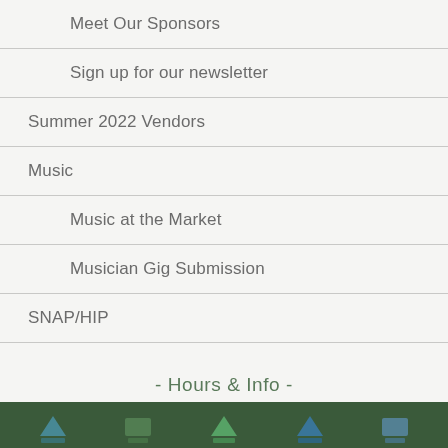Meet Our Sponsors
Sign up for our newsletter
Summer 2022 Vendors
Music
Music at the Market
Musician Gig Submission
SNAP/HIP
- Hours & Info -
[Figure (other): Footer icon bar with social/navigation icons on dark green background]